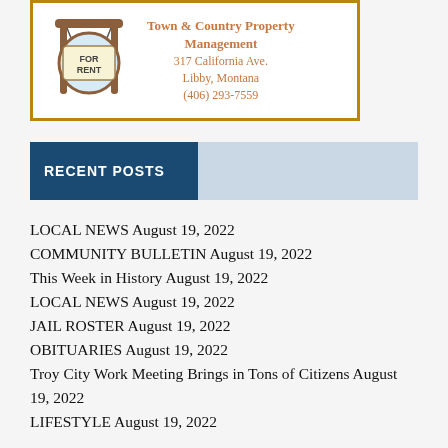[Figure (infographic): Town & Country Property Management ad with a 'FOR RENT' sign illustration on the left and contact info on the right: 317 California Ave., Libby, Montana, (406) 293-7559]
RECENT POSTS
LOCAL NEWS August 19, 2022
COMMUNITY BULLETIN August 19, 2022
This Week in History August 19, 2022
LOCAL NEWS August 19, 2022
JAIL ROSTER August 19, 2022
OBITUARIES August 19, 2022
Troy City Work Meeting Brings in Tons of Citizens August 19, 2022
LIFESTYLE August 19, 2022